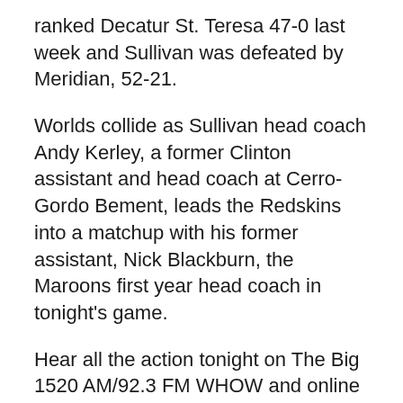ranked Decatur St. Teresa 47-0 last week and Sullivan was defeated by Meridian, 52-21.
Worlds collide as Sullivan head coach Andy Kerley, a former Clinton assistant and head coach at Cerro-Gordo Bement, leads the Redskins into a matchup with his former assistant, Nick Blackburn, the Maroons first year head coach in tonight's game.
Hear all the action tonight on The Big 1520 AM/92.3 FM WHOW and online at dewittdailynews.com.
Central Illinois
Decatur St. Teresa at Central A & M
Shelbyville at Meridian
Warrensburg-Latham at Tuscola